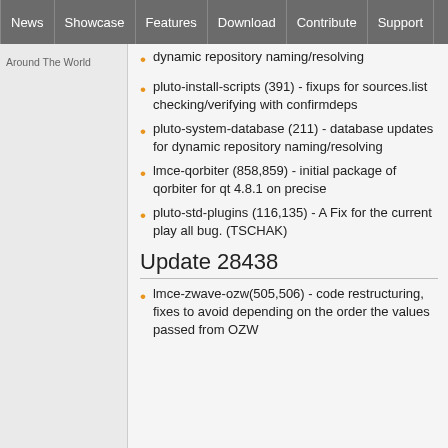News | Showcase | Features | Download | Contribute | Support
Around The World
dynamic repository naming/resolving
pluto-install-scripts (391) - fixups for sources.list checking/verifying with confirmdeps
pluto-system-database (211) - database updates for dynamic repository naming/resolving
lmce-qorbiter (858,859) - initial package of qorbiter for qt 4.8.1 on precise
pluto-std-plugins (116,135) - A Fix for the current play all bug. (TSCHAK)
Update 28438
lmce-zwave-ozw(505,506) - code restructuring, fixes to avoid depending on the order the values passed from OZW